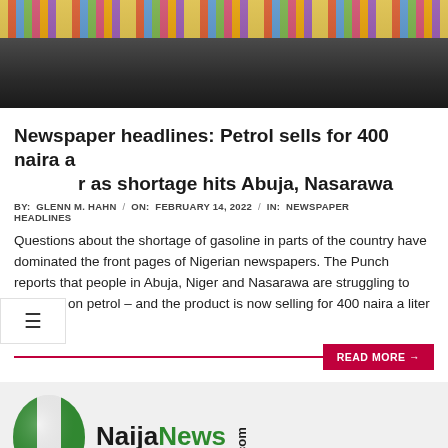[Figure (photo): Photo of colorful pencils/pens arranged on a dark surface, viewed from above]
Newspaper headlines: Petrol sells for 400 naira a liter as shortage hits Abuja, Nasarawa
BY: GLENN M. HAHN / ON: FEBRUARY 14, 2022 / IN: NEWSPAPER HEADLINES
Questions about the shortage of gasoline in parts of the country have dominated the front pages of Nigerian newspapers. The Punch reports that people in Abuja, Niger and Nasarawa are struggling to stock up on petrol – and the product is now selling for 400 naira a liter on the
READ MORE →
[Figure (logo): Naija News logo with Nigerian flag map shape and NaijaNews.com text]